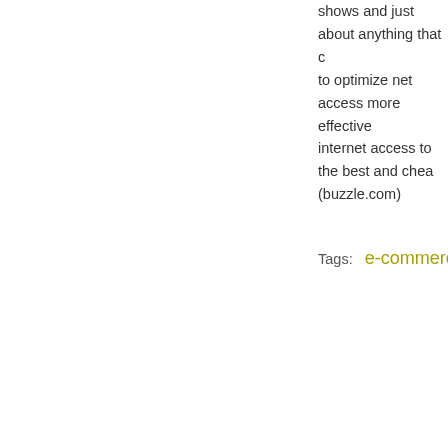shows and just about anything that c… to optimize net access more effective… internet access to the best and chea… (buzzle.com)
Tags:   e-commerce ,  money
INFORMATION
Customer Service
713.957.0003